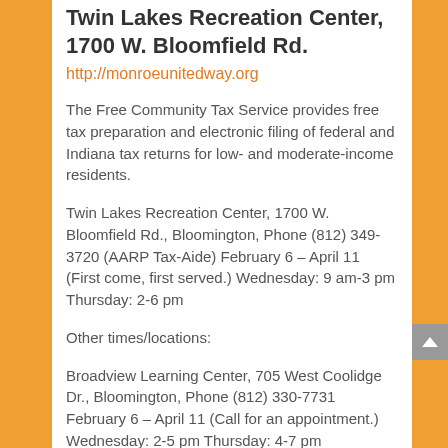Twin Lakes Recreation Center, 1700 W. Bloomfield Rd.
http://monroeunitedway.org
The Free Community Tax Service provides free tax preparation and electronic filing of federal and Indiana tax returns for low- and moderate-income residents.
Twin Lakes Recreation Center, 1700 W. Bloomfield Rd., Bloomington, Phone (812) 349-3720 (AARP Tax-Aide) February 6 – April 11 (First come, first served.) Wednesday: 9 am-3 pm Thursday: 2-6 pm
Other times/locations:
Broadview Learning Center, 705 West Coolidge Dr., Bloomington, Phone (812) 330-7731 February 6 – April 11 (Call for an appointment.) Wednesday: 2-5 pm Thursday: 4-7 pm